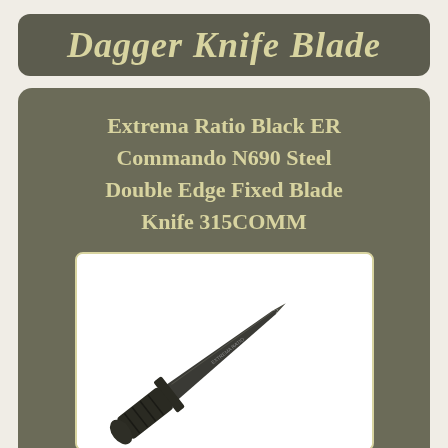Dagger Knife Blade
Extrema Ratio Black ER Commando N690 Steel Double Edge Fixed Blade Knife 315COMM
[Figure (photo): A black double-edge fixed blade dagger knife (Extrema Ratio Commando) shown diagonally across a white background. The blade is dark/black with a double edge, the handle is black with a cross-guard.]